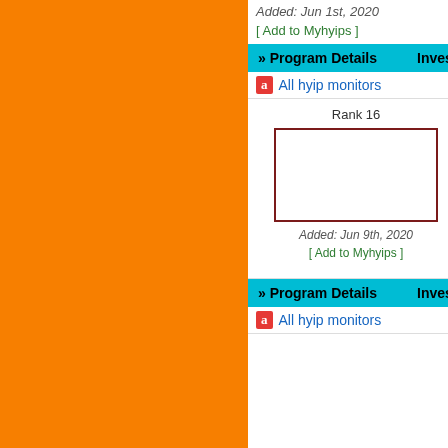Added: Jun 1st, 2020
[ Add to Myhyips ]
>> Program Details   Investment: --- + P
a All hyip monitors
traderbinarybots
Rank 16
[Figure (photo): Broken image placeholder for traderbinarybots logo]
Added: Jun 9th, 2020
[ Add to Myhyips ]
Plans: 1.25% Daily F... 1.45% Daily For 20 D... Daily For 30 Days / After 30 Days
Our Rating: ☆☆☆
Last Paid: No Payou...
Support: ✉ |
>> Program Details   Investment: --- + P
a All hyip monitors
mobit7